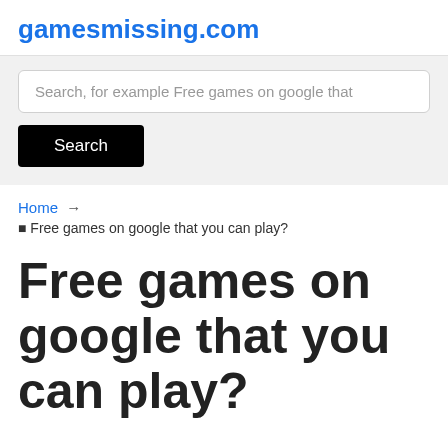gamesmissing.com
[Figure (screenshot): Search input field with placeholder text 'Search, for example Free games on google that' and a black Search button below it, on a light gray background.]
Home → ■ Free games on google that you can play?
Free games on google that you can play?